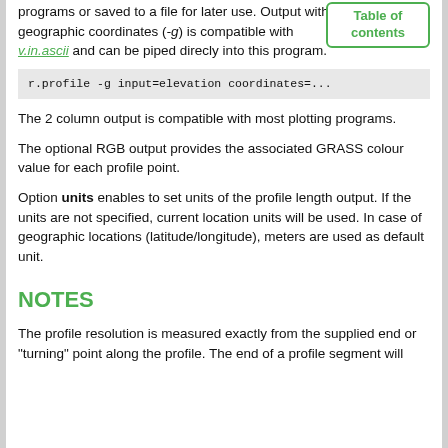programs or saved to a file for later use. Output with geographic coordinates (-g) is compatible with v.in.ascii and can be piped direcly into this program.
r.profile -g input=elevation coordinates=...
The 2 column output is compatible with most plotting programs.
The optional RGB output provides the associated GRASS colour value for each profile point.
Option units enables to set units of the profile length output. If the units are not specified, current location units will be used. In case of geographic locations (latitude/longitude), meters are used as default unit.
NOTES
The profile resolution is measured exactly from the supplied end or "turning" point along the profile. The end of a profile segment will